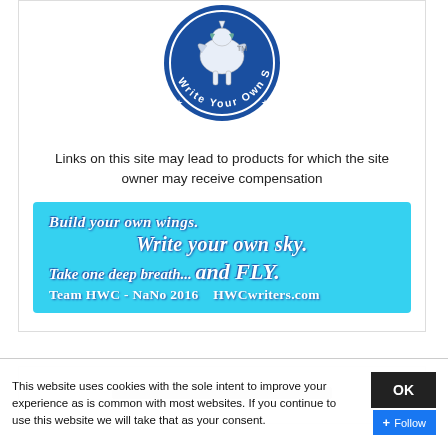[Figure (logo): Write Your Own Sky circular logo — blue circle with stars, white pegasus/unicorn figure, text 'Write Your Own Sky' around the border, TM mark]
Links on this site may lead to products for which the site owner may receive compensation
[Figure (infographic): Cyan/turquoise banner reading: 'Build your own wings. Write your own sky. Take one deep breath... and FLY. Team HWC - NaNo 2016  HWCwriters.com']
This website uses cookies with the sole intent to improve your experience as is common with most websites. If you continue to use this website we will take that as your consent.